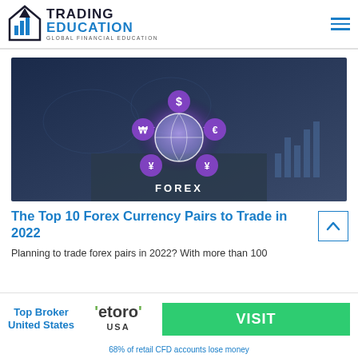TRADING EDUCATION — GLOBAL FINANCIAL EDUCATION
[Figure (photo): Person in suit holding a glowing digital globe with forex currency symbols (dollar, euro, yen) floating above it with the word FOREX, set against a world map background with financial charts]
The Top 10 Forex Currency Pairs to Trade in 2022
Planning to trade forex pairs in 2022? With more than 100
[Figure (logo): eToro USA broker advertisement with green VISIT button and disclaimer: 68% of retail CFD accounts lose money]